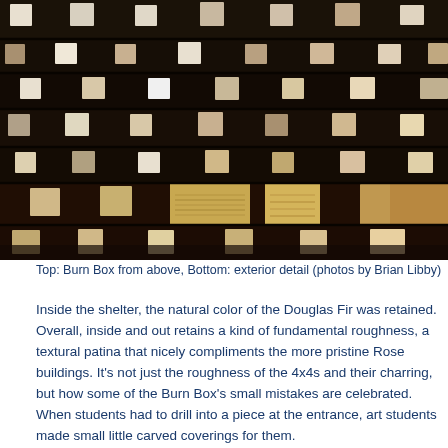[Figure (photo): Stacked dark charred Douglas Fir 4x4 lumber beams viewed from a perspective angle showing the cross-section ends, which are lighter colored (natural wood) against the dark burnt exterior surfaces. The photo shows both a top view and a detail of the exterior of the Burn Box structure.]
Top: Burn Box from above, Bottom: exterior detail (photos by Brian Libby)
Inside the shelter, the natural color of the Douglas Fir was retained. Overall, inside and out retains a kind of fundamental roughness, a textural patina that nicely compliments the more pristine Rose buildings. It's not just the roughness of the 4x4s and their charring, but how some of the Burn Box's small mistakes are celebrated. When students had to drill into a piece at the entrance, art students made small little carved coverings for them.
"I think that really is what the success of the project was," Burkheimer says. "That's kind of our philosophy here: we avoid mistakes but when we make them we've got to do something with them. This building really was very much t...